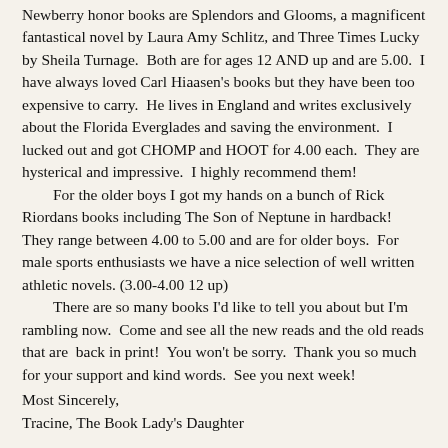Newberry honor books are Splendors and Glooms, a magnificent fantastical novel by Laura Amy Schlitz, and Three Times Lucky by Sheila Turnage.  Both are for ages 12 AND up and are 5.00.  I have always loved Carl Hiaasen's books but they have been too expensive to carry.  He lives in England and writes exclusively about the Florida Everglades and saving the environment.  I lucked out and got CHOMP and HOOT for 4.00 each.  They are hysterical and impressive.  I highly recommend them!
    For the older boys I got my hands on a bunch of Rick Riordans books including The Son of Neptune in hardback!  They range between 4.00 to 5.00 and are for older boys.  For male sports enthusiasts we have a nice selection of well written athletic novels. (3.00-4.00 12 up)
    There are so many books I'd like to tell you about but I'm rambling now.  Come and see all the new reads and the old reads that are  back in print!  You won't be sorry.  Thank you so much for your support and kind words.  See you next week!
Most Sincerely,
Tracine, The Book Lady's Daughter